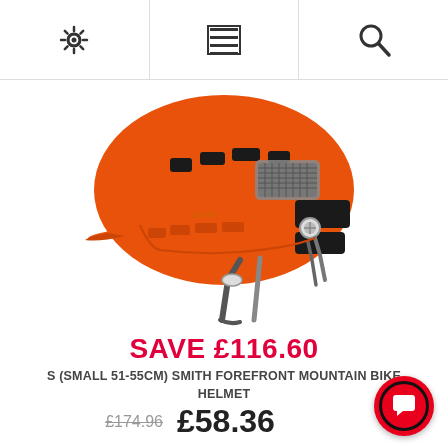[Settings icon] [Menu icon] [Search icon]
[Figure (photo): Orange Smith Forefront mountain bike helmet shown at an angle, with black mesh vents, grey adjustment straps, and grey/black chin strap system against a white background.]
SAVE £116.60
S (SMALL 51-55CM) SMITH FOREFRONT MOUNTAIN BIKE HELMET
£174.96  £58.36